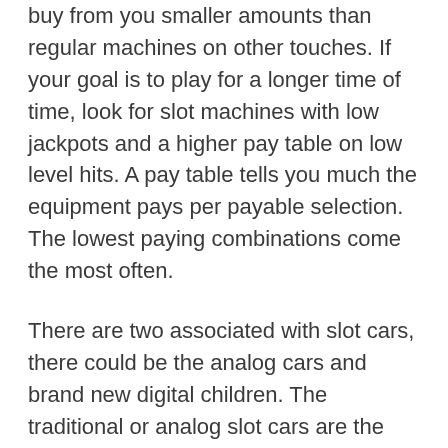buy from you smaller amounts than regular machines on other touches. If your goal is to play for a longer time of time, look for slot machines with low jackpots and a higher pay table on low level hits. A pay table tells you much the equipment pays per payable selection. The lowest paying combinations come the most often.
There are two associated with slot cars, there could be the analog cars and brand new digital children. The traditional or analog slot cars are the type of that stores remember while using the younger days to weeks. This is where it was one car per slot and the auto had to remain in that slot for full race.
The rules and directions for the online slot game